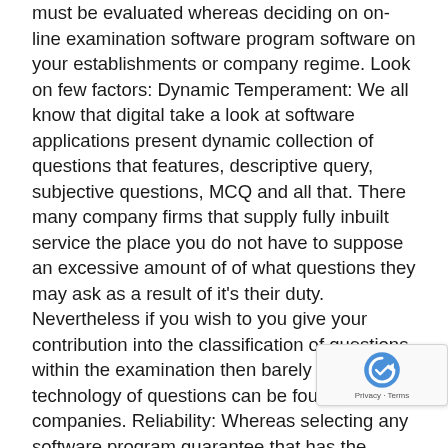must be evaluated whereas deciding on on-line examination software program software on your establishments or company regime. Look on few factors: Dynamic Temperament: We all know that digital take a look at software applications present dynamic collection of questions that features, descriptive query, subjective questions, MCQ and all that. There many company firms that supply fully inbuilt service the place you do not have to suppose an excessive amount of of what questions they may ask as a result of it's their duty. Nevertheless if you wish to you give your contribution into the classification of questions within the examination then barely and fully technology of questions can be found by some companies. Reliability: Whereas selecting any software program guarantee that has the constructive suggestions and a great deal of options to supply. It ought to be scholar pleasant and analysis course of have to be simplified examination occasions ought to be designed in a a... in order that the standard and actual time evaluation... should be there as effectively... Furthermore, additionally it is...